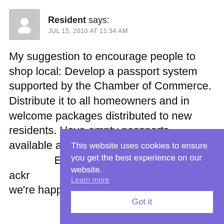Resident says: JUL 15, 2010 AT 11:34 AM
My suggestion to encourage people to shop local: Develop a passport system supported by the Chamber of Commerce. Distribute it to all homeowners and in welcome packages distributed to new residents. Have empty passports available at all local businesses. Participating businesses stamp your passport when you make a purchase. Encourage passport holders to frequent the businesses and encourage the businesses to acknowledge returning customers.

We're happy to live and we're happy to support local businesses.
This website uses cookies to ensure you get the best experience on our website. Learn more
Got it